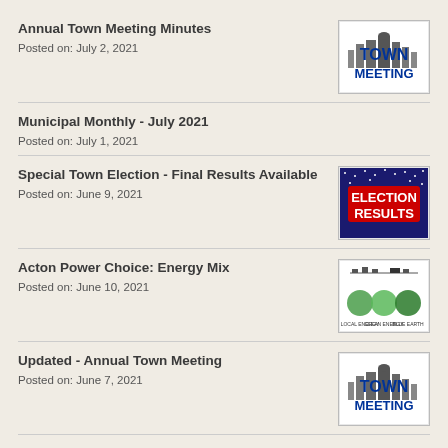Annual Town Meeting Minutes
Posted on: July 2, 2021
Municipal Monthly - July 2021
Posted on: July 1, 2021
Special Town Election - Final Results Available
Posted on: June 9, 2021
Acton Power Choice: Energy Mix
Posted on: June 10, 2021
Updated - Annual Town Meeting
Posted on: June 7, 2021
Polystyrene (Styrofoam) Collection Day at the Transfer Station & Recycling Center